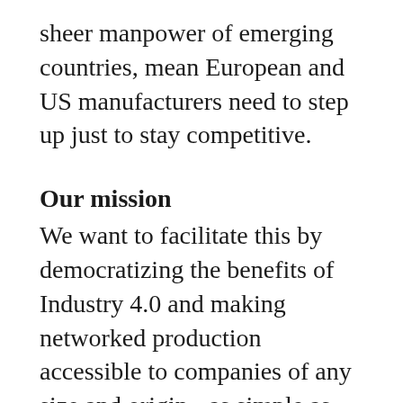sheer manpower of emerging countries, mean European and US manufacturers need to step up just to stay competitive.
Our mission
We want to facilitate this by democratizing the benefits of Industry 4.0 and making networked production accessible to companies of any size and origin - as simple as installing an app from the app-store.